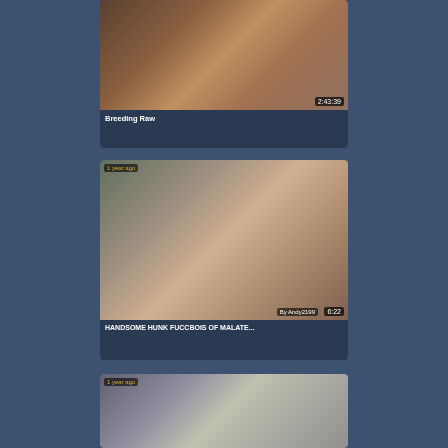[Figure (screenshot): Video thumbnail showing two male figures, duration badge 2:43:39]
Breeding Raw
[Figure (screenshot): Video thumbnail labeled '1 year ago', male figure, By Andy2199, duration 6:22]
HANDSOME HUNK FUCCBOIS OF MALATE...
[Figure (screenshot): Video thumbnail labeled '1 year ago', two male figures partially visible]